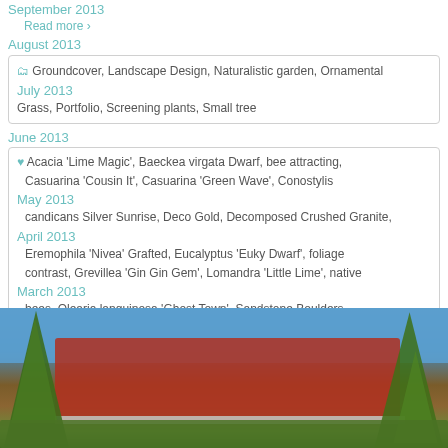September 2013
Read more ›
August 2013
🗂 Groundcover, Landscape Design, Naturalistic garden, Ornamental
July 2013
Grass, Portfolio, Screening plants, Small tree
June 2013
Acacia 'Lime Magic', Baeckea virgata Dwarf, bee attracting, Casuarina 'Cousin It', Casuarina 'Green Wave', Conostylis candicans Silver Sunrise, Deco Gold, Decomposed Crushed Granite, Eremophila 'Nivea' Grafted, Eucalyptus 'Euky Dwarf', foliage contrast, Grevillea 'Gin Gin Gem', Lomandra 'Little Lime', native bees, Olearia languinosa 'Ghost Town', Sandstone Boulders, Scaevola Mauve Clusters, silver foliage, street address, weeping habit, well drained soil, yellow flowers
May 2013
April 2013
March 2013
February 2013
January 2013
December 2012
Portfolio: Gardening in Wind
[Figure (photo): Photograph of a house with a red/terracotta tiled roof partially visible behind trees, against a blue sky]